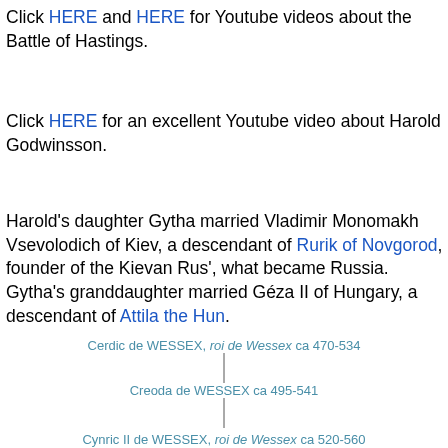Click HERE and HERE for Youtube videos about the Battle of Hastings.
Click HERE for an excellent Youtube video about Harold Godwinsson.
Harold's daughter Gytha married Vladimir Monomakh Vsevolodich of Kiev, a descendant of Rurik of Novgorod, founder of the Kievan Rus', what became Russia. Gytha's granddaughter married Géza II of Hungary, a descendant of Attila the Hun.
[Figure (other): Genealogy chart showing: Cerdic de WESSEX, roi de Wessex ca 470-534 connected by vertical line to Creoda de WESSEX ca 495-541 connected by vertical line to Cynric II de WESSEX, roi de Wessex ca 520-560]